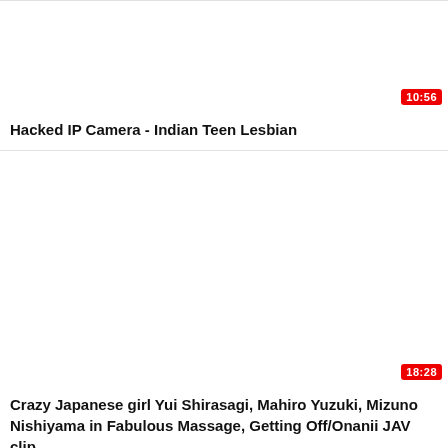[Figure (screenshot): Video thumbnail placeholder for 'Hacked IP Camera - Indian Teen Lesbian', white/blank thumbnail with red duration badge showing 10:56]
Hacked IP Camera - Indian Teen Lesbian
[Figure (screenshot): Video thumbnail placeholder, large white/blank area with red duration badge showing 18:28]
Crazy Japanese girl Yui Shirasagi, Mahiro Yuzuki, Mizuno Nishiyama in Fabulous Massage, Getting Off/Onanii JAV clip